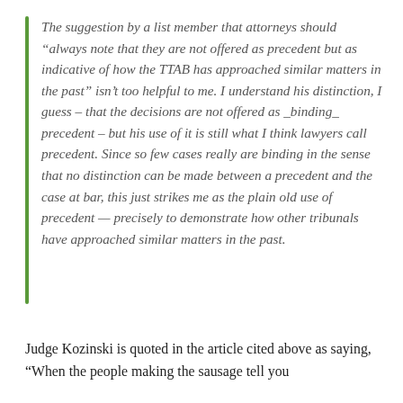The suggestion by a list member that attorneys should “always note that they are not offered as precedent but as indicative of how the TTAB has approached similar matters in the past” isn’t too helpful to me. I understand his distinction, I guess – that the decisions are not offered as _binding_ precedent – but his use of it is still what I think lawyers call precedent. Since so few cases really are binding in the sense that no distinction can be made between a precedent and the case at bar, this just strikes me as the plain old use of precedent — precisely to demonstrate how other tribunals have approached similar matters in the past.
Judge Kozinski is quoted in the article cited above as saying, “When the people making the sausage tell you